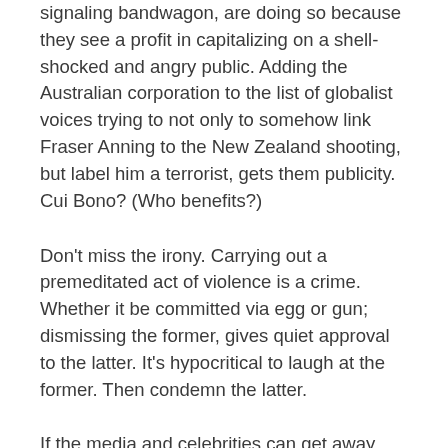signaling bandwagon, are doing so because they see a profit in capitalizing on a shell-shocked and angry public. Adding the Australian corporation to the list of globalist voices trying to not only to somehow link Fraser Anning to the New Zealand shooting, but label him a terrorist, gets them publicity. Cui Bono? (Who benefits?)
Don't miss the irony. Carrying out a premeditated act of violence is a crime. Whether it be committed via egg or gun; dismissing the former, gives quiet approval to the latter. It's hypocritical to laugh at the former. Then condemn the latter.
If the media and celebrities can get away with